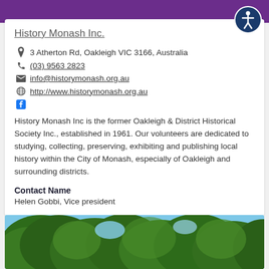History Monash Inc.
3 Atherton Rd, Oakleigh VIC 3166, Australia
(03) 9563 2823
info@historymonash.org.au
http://www.historymonash.org.au
History Monash Inc is the former Oakleigh & District Historical Society Inc., established in 1961. Our volunteers are dedicated to studying, collecting, preserving, exhibiting and publishing local history within the City of Monash, especially of Oakleigh and surrounding districts.
Contact Name
Helen Gobbi, Vice president
[Figure (photo): Tree canopy with green leaves against a blue sky, outdoor photograph]